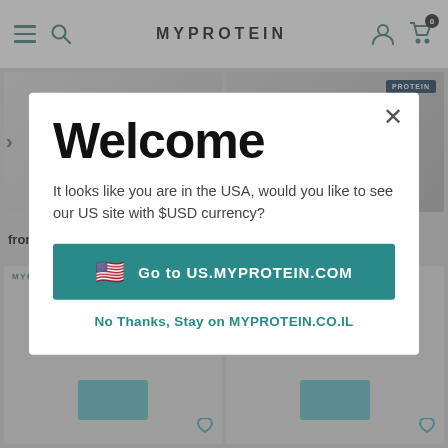MYPROTEIN
[Figure (screenshot): Two product images in top row of e-commerce grid, partially visible behind modal overlay]
from 130.00 ₪
129.00 ₪
[Figure (screenshot): Two product cards in bottom row of e-commerce grid, partially visible behind modal overlay]
Welcome
It looks like you are in the USA, would you like to see our US site with $USD currency?
Go to US.MYPROTEIN.COM
No Thanks, Stay on MYPROTEIN.CO.IL